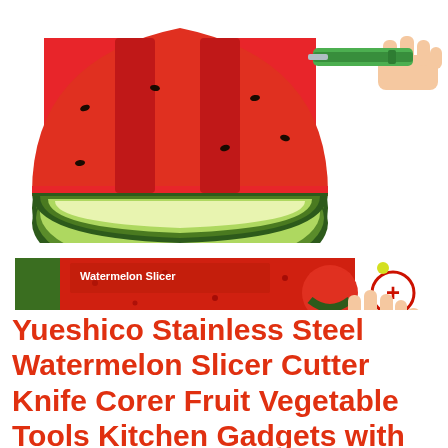[Figure (photo): Product listing image showing: top half — a halved watermelon with two slices cut, and a hand holding a green watermelon slicer tool upper right; bottom half — a red product box labeled 'WATERMELON CUBES SLICER', a plus sign circle, a hand holding a stainless steel melon baller tool, and a small pile of watermelon balls.]
Yueshico Stainless Steel Watermelon Slicer Cutter Knife Corer Fruit Vegetable Tools Kitchen Gadgets with